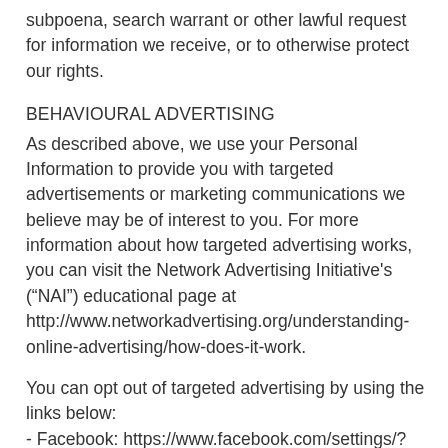subpoena, search warrant or other lawful request for information we receive, or to otherwise protect our rights.
BEHAVIOURAL ADVERTISING
As described above, we use your Personal Information to provide you with targeted advertisements or marketing communications we believe may be of interest to you. For more information about how targeted advertising works, you can visit the Network Advertising Initiative's (“NAI”) educational page at http://www.networkadvertising.org/understanding-online-advertising/how-does-it-work.
You can opt out of targeted advertising by using the links below:
- Facebook: https://www.facebook.com/settings/?tab=ads
- Google: